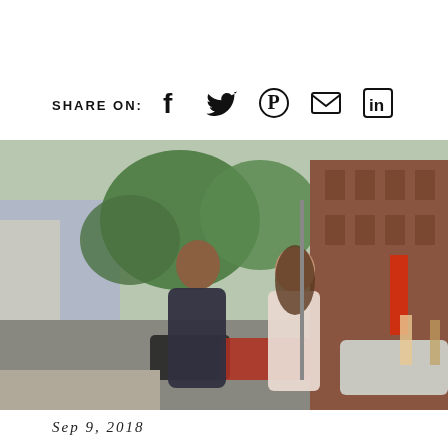SHARE ON: [Facebook] [Twitter] [Pinterest] [Email] [LinkedIn]
[Figure (photo): Two women standing on a sunny New York City street, facing each other and talking. Brick buildings, parked cars, and green trees visible in background. Urban street scene.]
Sep 9, 2018